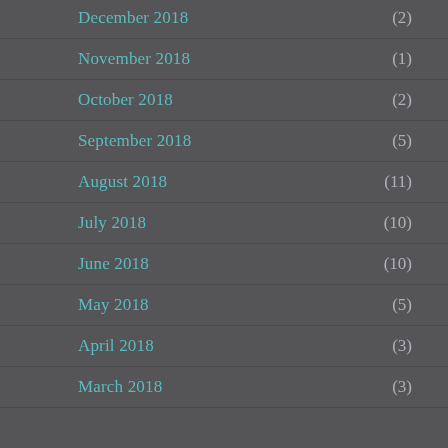December 2018 (2)
November 2018 (1)
October 2018 (2)
September 2018 (5)
August 2018 (11)
July 2018 (10)
June 2018 (10)
May 2018 (5)
April 2018 (3)
March 2018 (3)